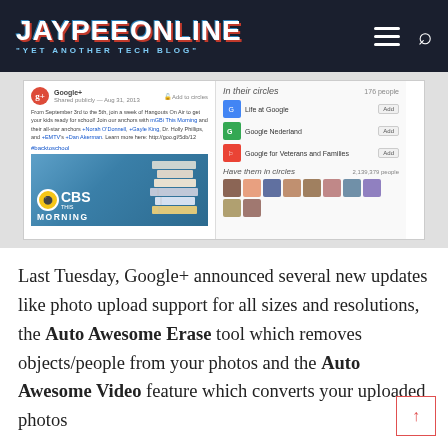JAYPEEONLINE "YET ANOTHER TECH BLOG"
[Figure (screenshot): Screenshot of a Google+ post by Google+ featuring CBS This Morning content, with a sidebar showing In their circles panel listing Life at Google, Google Nederland, Google for Veterans and Families, and a Have them in circles section with avatar strip.]
Last Tuesday, Google+ announced several new updates like photo upload support for all sizes and resolutions, the Auto Awesome Erase tool which removes objects/people from your photos and the Auto Awesome Video feature which converts your uploaded photos